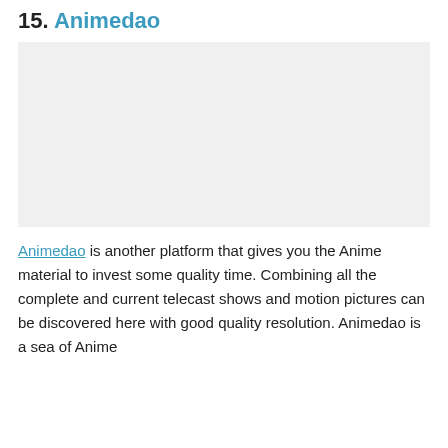15. Animedao
[Figure (screenshot): Gray placeholder rectangle representing an Animedao website screenshot]
Animedao is another platform that gives you the Anime material to invest some quality time. Combining all the complete and current telecast shows and motion pictures can be discovered here with good quality resolution. Animedao is a sea of Anime